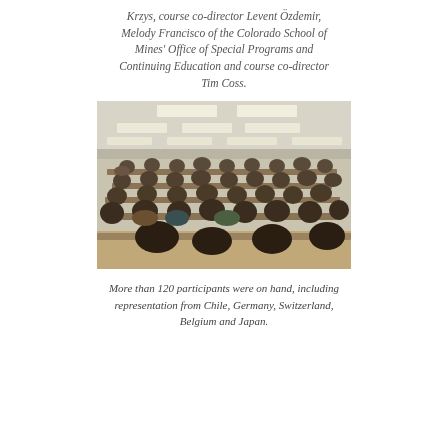Krzys, course co-director Levent Özdemir, Melody Francisco of the Colorado School of Mines' Office of Special Programs and Continuing Education and course co-director Tim Coss.
[Figure (photo): A large classroom or conference room filled with more than 120 participants seated at long tables, viewed from the front-right angle. The room has fluorescent ceiling lights and participants appear to be attending a course or seminar.]
More than 120 participants were on hand, including representation from Chile, Germany, Switzerland, Belgium and Japan.